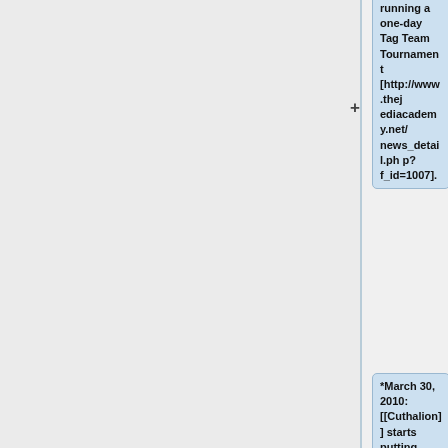running a one-day Tag Team Tournament [http://www.thejediacademy.net/news_detail.php?f_id=1007].
*March 30, 2010: [[Cuthalion]] starts putting together the 2010 edition of the JA Yearbook [http://www.thejediacademy.net/news_detail.php?f_id=1008].
*April 1, 2010: April Fools 2010